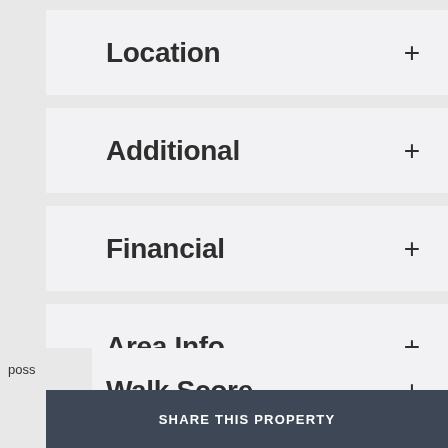Location +
Additional +
Financial +
Area Info +
Walk Score +
poss
SHARE THIS PROPERTY